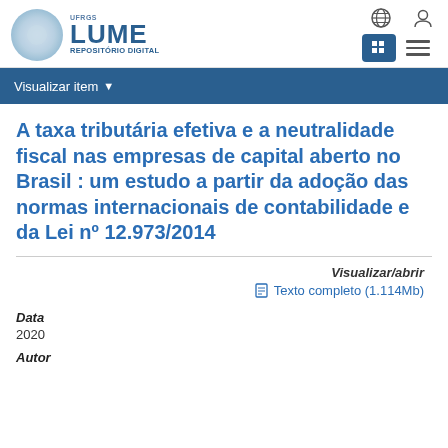LUME REPOSITÓRIO DIGITAL
Visualizar item
A taxa tributária efetiva e a neutralidade fiscal nas empresas de capital aberto no Brasil : um estudo a partir da adoção das normas internacionais de contabilidade e da Lei nº 12.973/2014
Visualizar/abrir
Texto completo (1.114Mb)
Data
2020
Autor